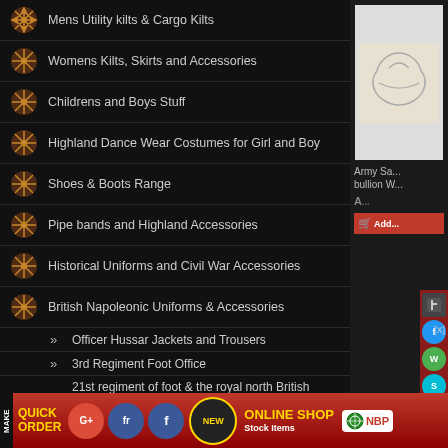Mens Utility kilts & Cargo Kilts
Womens Kilts, Skirts and Accessories
Childrens and Boys Stuff
Highland Dance Wear Costumes for Girl and Boy
Shoes & Boots Range
Pipe bands and Highland Accessories
Historical Uniforms and Civil War Accessories
British Napoleonic Uniforms & Accessories
Officer Hussar Jackets and Trousers
3rd Regiment Foot Office
21st regiment of foot & the royal north British fusiliers
23rd regiment of foot royal welch fusileers
57th the West Middlesex Regiment of Foot
[Figure (screenshot): Right sidebar with product image and add to cart button]
[Figure (infographic): Bottom navigation bar with Quick Order, social media icons, New Online Shop badge, and NBP logo]